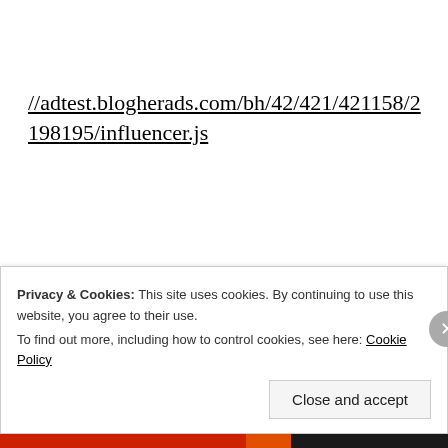//adtest.blogherads.com/bh/42/421/421158/2198195/influencer.js
Privacy & Cookies: This site uses cookies. By continuing to use this website, you agree to their use.
To find out more, including how to control cookies, see here: Cookie Policy
Close and accept